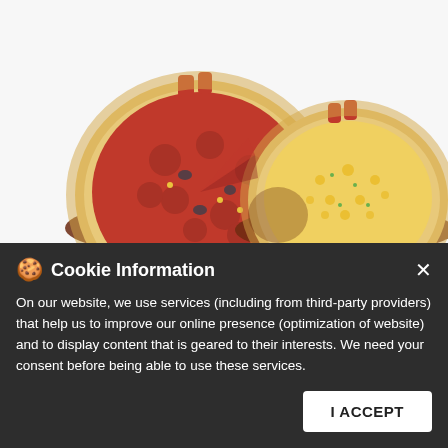[Figure (photo): Two medium pizzas on dark plates: one with pepperoni/meat toppings and one with cheese toppings, on a white background]
PAKET MEDIUM DUO PIZZA - FRANKIE SAUSAGE CRUST
2 Medium Frankie Sausage Crust Premium / Favourite / Super Value Pizza Worth to Rp.150.000*. Valid for Delivery, Dine In and Takeaway. Price Excludes Tax.
Cookie Information
On our website, we use services (including from third-party providers) that help us to improve our online presence (optimization of website) and to display content that is geared to their interests. We need your consent before being able to use these services.
I ACCEPT